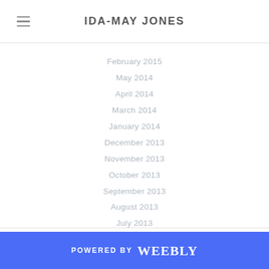IDA-MAY JONES
February 2015
May 2014
April 2014
March 2014
January 2014
December 2013
November 2013
October 2013
September 2013
August 2013
July 2013
June 2013
POWERED BY weebly